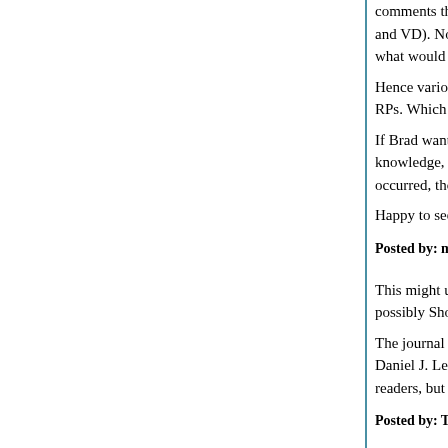comments that suggested there was a fair bit of d… and VD). Nor has Brad said anything about what… what would be on the SP slate before Brad annou…
Hence various people are claiming a degree of co… RPs. Which is *not* the same as saying "The SPs…
If Brad wanted to deny that collusion, he has had… knowledge, he has not. So I'm inclined (for now) t… occurred, though I'm keeping an open mind as m…
Happy to see links if people have evidence that s…
Posted by: meno | April 22, 2015 at 05:43 PM
This might upset you stats again but I would argu… possibly Show should also count as in-house Cas…
The journal is sold only by Amazon and Castalia H… Daniel J. Lewis, is one of Castalia's in-house blog… readers, but I can't check that as the readers use…
Posted by: Tintinaus | April 22, 2015 at 09:05 PM
"Nuke them from orbit. It's the only way to be sure…